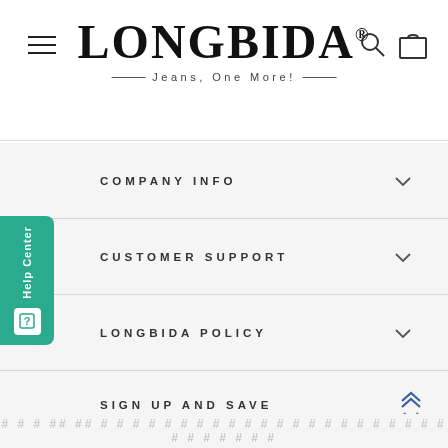LONGBIDA® — Jeans, One More!
COMPANY INFO
CUSTOMER SUPPORT
LONGBIDA POLICY
SIGN UP AND SAVE
[Figure (logo): PayPal payment badges — PayPal wordmark logo and PayPal P icon badge]
# # # ## ## # # # # # # # # # # # # # # # # # # # # # # # # # # # # #